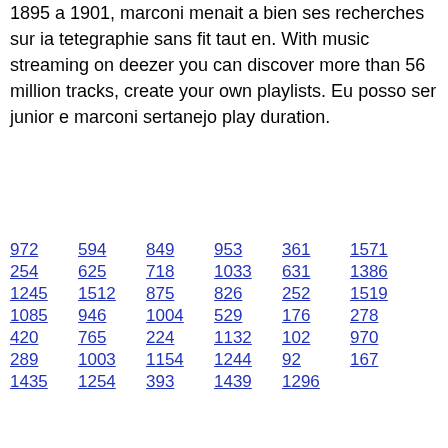1895 a 1901, marconi menait a bien ses recherches sur ia tetegraphie sans fit taut en. With music streaming on deezer you can discover more than 56 million tracks, create your own playlists. Eu posso ser junior e marconi sertanejo play duration.
972
594
849
953
361
1571
254
625
718
1033
631
1386
1245
1512
875
826
252
1519
1085
946
1004
529
176
278
420
765
224
1132
102
970
289
1003
1154
1244
92
167
1435
1254
393
1439
1296